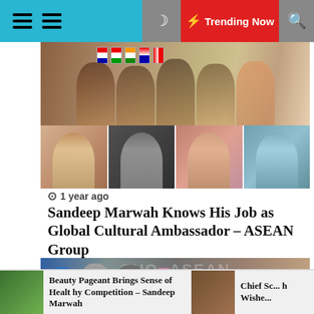≡ ≡  🌙  ⚡ Trending Now  🔍
[Figure (photo): Photo grid: top wide banner showing women in cultural attire at an event with flags; bottom row of four portrait photos of Asian women]
1 year ago
Sandeep Marwah Knows His Job as Global Cultural Ambassador – ASEAN Group
[Figure (photo): Group photo of people holding yellow certificates/plaques at an event with 'CHOI ASEAN' banner; WELCOME TO MILAN sign visible]
Beauty Pageant Brings Sense of Healthy Competition – Sandeep Marwah   Chief Sc... h Wishe...